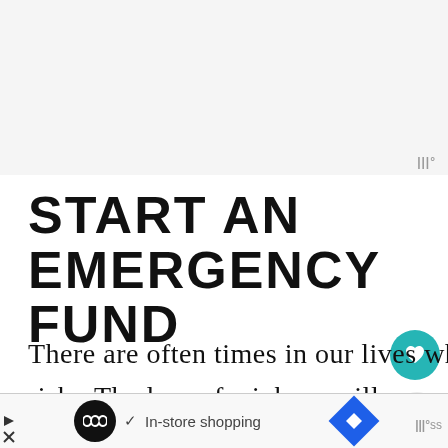START AN EMERGENCY FUND
There are often times in our lives where our financial security is at risk.  The loss of a job, a m[ajor] illness, an unexpected pregnancy,
In-store shopping